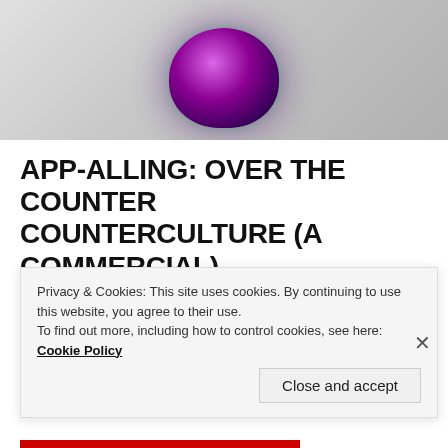[Figure (photo): Close-up photo of a purple/magenta spherical object against a light grey background with slight green glow at bottom]
APP-ALLING: OVER THE COUNTER COUNTERCULTURE (A COMMERCIAL)
MARCH 12, 2017
Young Indie Alt Media Star FKA Twigs appears in a Spike Jonze video, with the lacerating title “Welcome Home,” about the circular route, around the dead rituals of
Privacy & Cookies: This site uses cookies. By continuing to use this website, you agree to their use.
To find out more, including how to control cookies, see here: Cookie Policy
Close and accept